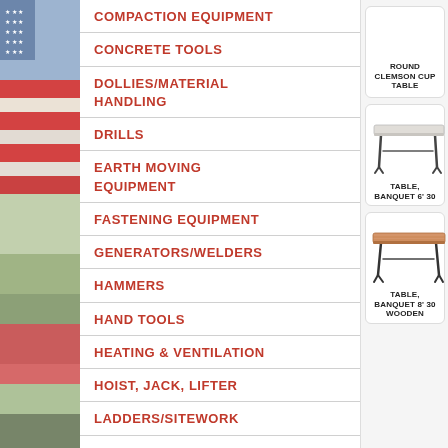[Figure (photo): Patriotic American flag background image on left edge]
COMPACTION EQUIPMENT
CONCRETE TOOLS
DOLLIES/MATERIAL HANDLING
DRILLS
EARTH MOVING EQUIPMENT
FASTENING EQUIPMENT
GENERATORS/WELDERS
HAMMERS
HAND TOOLS
HEATING & VENTILATION
HOIST, JACK, LIFTER
LADDERS/SITEWORK
LAWN & GARDEN EQUIPMENT
LIGHTING
ROUND CLEMSON CUP TABLE
[Figure (photo): Photo of a 6-foot plastic banquet folding table with grey top]
TABLE, BANQUET 6' 30
[Figure (photo): Photo of a wooden 8-foot banquet folding table with wood top]
TABLE, BANQUET 8' 30 WOODEN